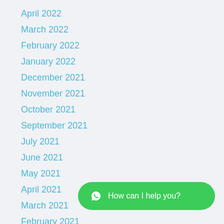April 2022
March 2022
February 2022
January 2022
December 2021
November 2021
October 2021
September 2021
July 2021
June 2021
May 2021
April 2021
March 2021
February 2021
January 2021
December 2020
November 2020
[Figure (other): Green chat button with WhatsApp icon and text 'How can I help you?']